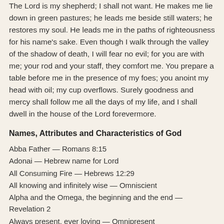The Lord is my shepherd; I shall not want. He makes me lie down in green pastures; he leads me beside still waters; he restores my soul. He leads me in the paths of righteousness for his name's sake. Even though I walk through the valley of the shadow of death, I will fear no evil; for you are with me; your rod and your staff, they comfort me. You prepare a table before me in the presence of my foes; you anoint my head with oil; my cup overflows. Surely goodness and mercy shall follow me all the days of my life, and I shall dwell in the house of the Lord forevermore.
Names, Attributes and Characteristics of God
Abba Father — Romans 8:15
Adonai — Hebrew name for Lord
All Consuming Fire — Hebrews 12:29
All knowing and infinitely wise — Omniscient
Alpha and the Omega, the beginning and the end — Revelation 2
Always present, ever loving — Omnipresent
Atoning sacrifice for my sin — 1 John 2:2
Author & Perfecter of my faith — Hebrews 12:2